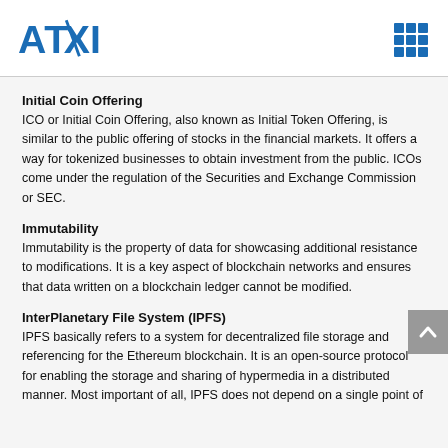ATIXI
Initial Coin Offering
ICO or Initial Coin Offering, also known as Initial Token Offering, is similar to the public offering of stocks in the financial markets. It offers a way for tokenized businesses to obtain investment from the public. ICOs come under the regulation of the Securities and Exchange Commission or SEC.
Immutability
Immutability is the property of data for showcasing additional resistance to modifications. It is a key aspect of blockchain networks and ensures that data written on a blockchain ledger cannot be modified.
InterPlanetary File System (IPFS)
IPFS basically refers to a system for decentralized file storage and referencing for the Ethereum blockchain. It is an open-source protocol for enabling the storage and sharing of hypermedia in a distributed manner. Most important of all, IPFS does not depend on a single point of